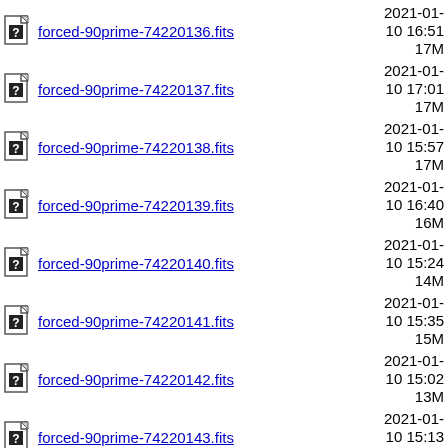forced-90prime-74220136.fits  2021-01-10 16:51  17M
forced-90prime-74220137.fits  2021-01-10 17:01  17M
forced-90prime-74220138.fits  2021-01-10 15:57  17M
forced-90prime-74220139.fits  2021-01-10 16:40  16M
forced-90prime-74220140.fits  2021-01-10 15:24  14M
forced-90prime-74220141.fits  2021-01-10 15:35  15M
forced-90prime-74220142.fits  2021-01-10 15:02  13M
forced-90prime-74220143.fits  2021-01-10 15:13  15M
forced-90prime-74220144.fits  2021-01-10 14:45  14M
forced-90prime-74220145.fits  2021-01-10 15:03  13M
forced-90prime-74220146.fits  2021-01-11 15:25  14M
forced-90prime-... 2021-01-...